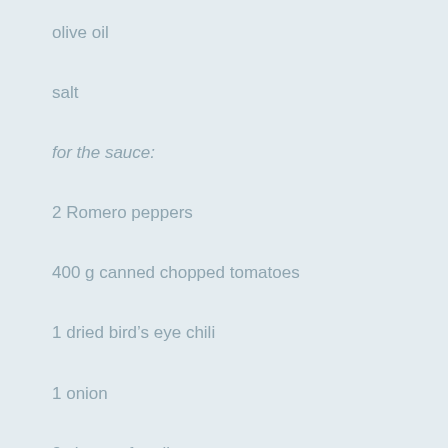olive oil
salt
for the sauce:
2 Romero peppers
400 g canned chopped tomatoes
1 dried bird's eye chili
1 onion
3 cloves of garlic